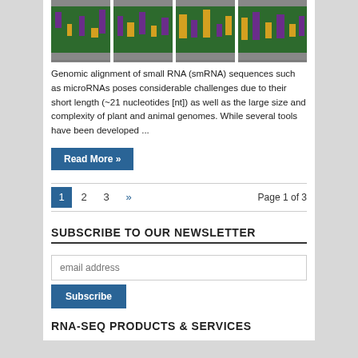[Figure (other): Four genomic alignment visualization charts showing colored bar patterns (green, purple, orange, grey) representing smRNA sequence alignments]
Genomic alignment of small RNA (smRNA) sequences such as microRNAs poses considerable challenges due to their short length (~21 nucleotides [nt]) as well as the large size and complexity of plant and animal genomes. While several tools have been developed ...
Read More »
1  2  3  »  Page 1 of 3
SUBSCRIBE TO OUR NEWSLETTER
email address
Subscribe
RNA-SEQ PRODUCTS & SERVICES